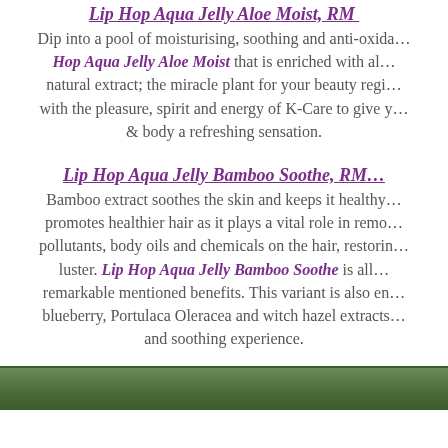Lip Hop Aqua Jelly Aloe Moist, RM …
Dip into a pool of moisturising, soothing and anti-oxida… Hop Aqua Jelly Aloe Moist that is enriched with aloe natural extract; the miracle plant for your beauty regi… with the pleasure, spirit and energy of K-Care to give y… & body a refreshing sensation.
Lip Hop Aqua Jelly Bamboo Soothe, RM…
Bamboo extract soothes the skin and keeps it healthy… promotes healthier hair as it plays a vital role in remo… pollutants, body oils and chemicals on the hair, restorin… luster. Lip Hop Aqua Jelly Bamboo Soothe is all… remarkable mentioned benefits. This variant is also en… blueberry, Portulaca Oleracea and witch hazel extracts… and soothing experience.
[Figure (photo): A photo strip at the bottom showing greenery/plant imagery]